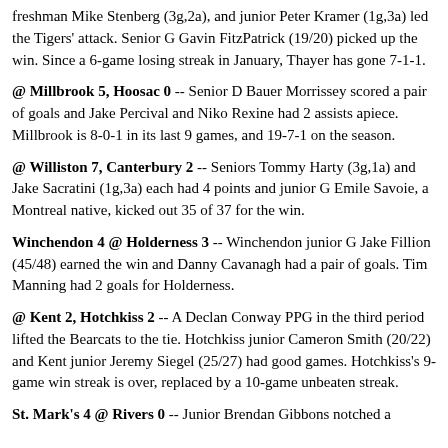freshman Mike Stenberg (3g,2a), and junior Peter Kramer (1g,3a) led the Tigers' attack. Senior G Gavin FitzPatrick (19/20) picked up the win. Since a 6-game losing streak in January, Thayer has gone 7-1-1.
@ Millbrook 5, Hoosac 0 -- Senior D Bauer Morrissey scored a pair of goals and Jake Percival and Niko Rexine had 2 assists apiece. Millbrook is 8-0-1 in its last 9 games, and 19-7-1 on the season.
@ Williston 7, Canterbury 2 -- Seniors Tommy Harty (3g,1a) and Jake Sacratini (1g,3a) each had 4 points and junior G Emile Savoie, a Montreal native, kicked out 35 of 37 for the win.
Winchendon 4 @ Holderness 3 -- Winchendon junior G Jake Fillion (45/48) earned the win and Danny Cavanagh had a pair of goals. Tim Manning had 2 goals for Holderness.
@ Kent 2, Hotchkiss 2 -- A Declan Conway PPG in the third period lifted the Bearcats to the tie. Hotchkiss junior Cameron Smith (20/22) and Kent junior Jeremy Siegel (25/27) had good games. Hotchkiss's 9-game win streak is over, replaced by a 10-game unbeaten streak.
St. Mark's 4 @ Rivers 0 -- Junior Brendan Gibbons notched a